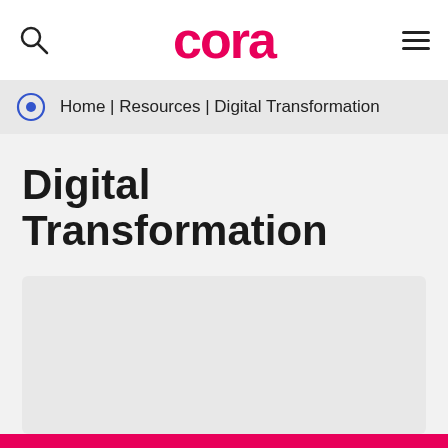cora
Home | Resources | Digital Transformation
Digital Transformation
[Figure (other): Gray placeholder card area below the Digital Transformation title]